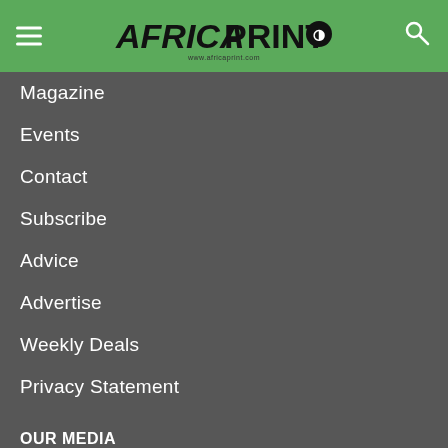AFRICA PRINT (logo with hamburger menu and search icon)
Magazine
Events
Contact
Subscribe
Advice
Advertise
Weekly Deals
Privacy Statement
OUR MEDIA
[Figure (logo): Sign Africa logo with orange SIGN text and white AFRICA text with Africa continent icon]